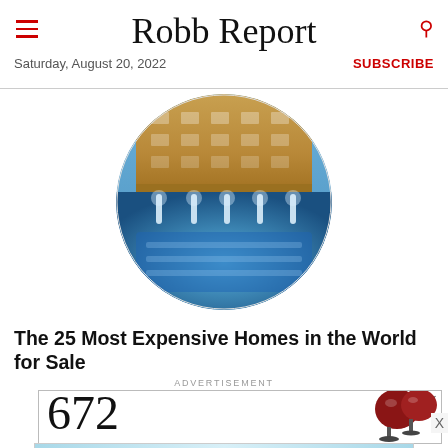Robb Report
Saturday, August 20, 2022
SUBSCRIBE
[Figure (photo): Circular cropped photo of a luxury property interior/exterior showing a grand building with ornate architecture and an illuminated blue pool area at night]
The 25 Most Expensive Homes in the World for Sale
ADVERTISEMENT
[Figure (photo): Advertisement banner showing large serif numerals '672' with wine glasses containing red wine on the right side, with a close button (X) in the upper right corner]
[Figure (photo): Bottom advertisement banner with light blue sky gradient background and a Smokey the Bear mascot character on the right side]